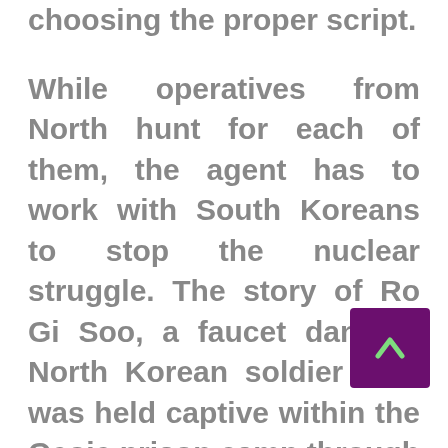choosing the proper script. While operatives from North hunt for each of them, the agent has to work with South Koreans to stop the nuclear struggle. The story of Ro Gi Soo, a faucet dancing North Korean soldier who was held captive within the Geoje prison camp through the Korean War. A young man begins to fall in love with one of his classmates, who's slowly dying from a fatal pancreatic disease, and helps her live her life to the fullest earlier than she passes on.
Capitalized at $2 million when it launched in 2009, N.E.W. earned a net revenue of